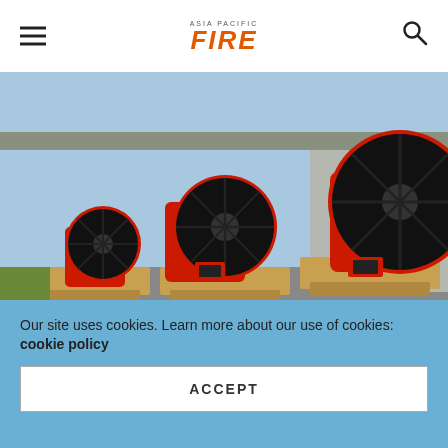ASIA PACIFIC FIRE
[Figure (photo): Three large red industrial ventilation fans (different sizes) mounted on wooden skid pallets, parked outside a warehouse/building. The fans have black circular blades with red housings.]
In addition to the light-weight trailer version offered, the two fans are available in a « Skid »
Our site uses cookies. Learn more about our use of cookies: cookie policy
ACCEPT